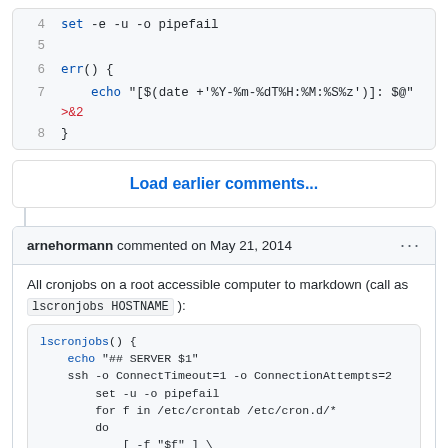[Figure (screenshot): Code block showing lines 4-8 of a shell script: set -e -u -o pipefail, err() function with echo and date command redirecting to &2]
Load earlier comments...
arnehormann commented on May 21, 2014
All cronjobs on a root accessible computer to markdown (call as lscronjobs HOSTNAME ):
[Figure (screenshot): Code block showing lscronjobs() shell function with echo, ssh, set, for loop, do, conditional file check and echo commands]